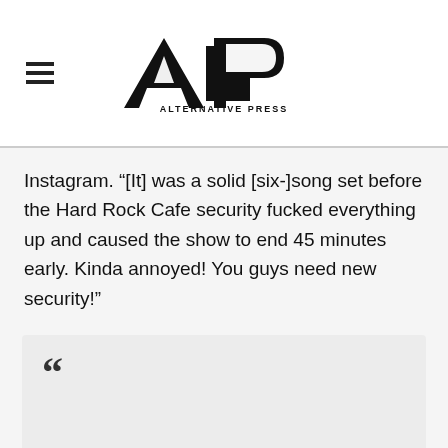AP Alternative Press
Instagram. “[It] was a solid [six-]song set before the Hard Rock Cafe security fucked everything up and caused the show to end 45 minutes early. Kinda annoyed! You guys need new security!”
[Figure (other): Large opening quotation mark at top of a pull-quote box with light gray background]